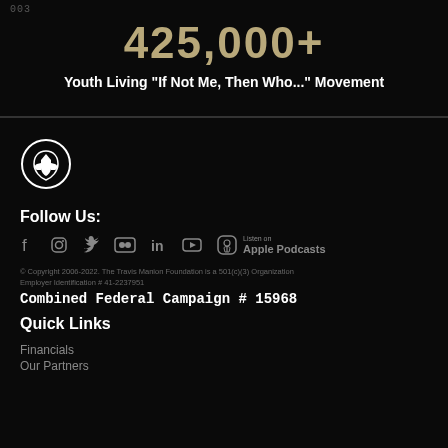003
425,000+
Youth Living "If Not Me, Then Who..." Movement
[Figure (logo): Travis Manion Foundation circular logo with stylized helmet icon in white on black background]
Follow Us:
Social media icons: Facebook, Instagram, Twitter, Flickr, LinkedIn, YouTube, Apple Podcasts
© Copyright 2006-2022. The Travis Manion Foundation is a 501(c)(3) Organization Employer Identification # 41-2237951
Combined Federal Campaign # 15968
Quick Links
Financials
Our Partners